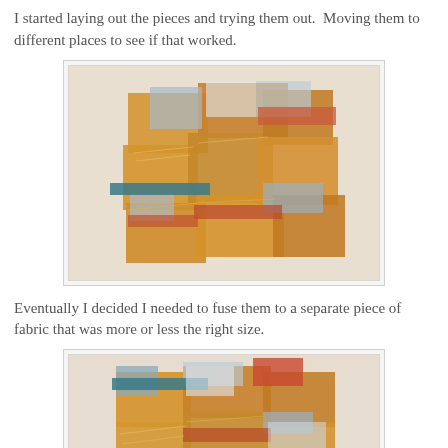I started laying out the pieces and trying them out.  Moving them to different places to see if that worked.
[Figure (photo): Collage of painted fabric pieces in orange, blue, red, and white tones arranged on a light background, laid out in an abstract patchwork pattern.]
Eventually I decided I needed to fuse them to a separate piece of fabric that was more or less the right size.
[Figure (photo): Similar collage of painted fabric pieces arranged more densely on a light background, showing orange, blue, and terracotta tones in an abstract patchwork layout.]